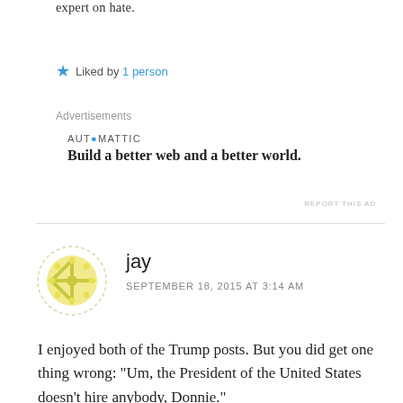expert on hate.
★ Liked by 1 person
Advertisements
AUTOMATTIC
Build a better web and a better world.
REPORT THIS AD
jay
SEPTEMBER 18, 2015 AT 3:14 AM
I enjoyed both of the Trump posts. But you did get one thing wrong: "Um, the President of the United States doesn't hire anybody, Donnie."
The President appoints and delegates to MANY people. It is tantamount to hiring. And picking the right people is arguably one of the most important